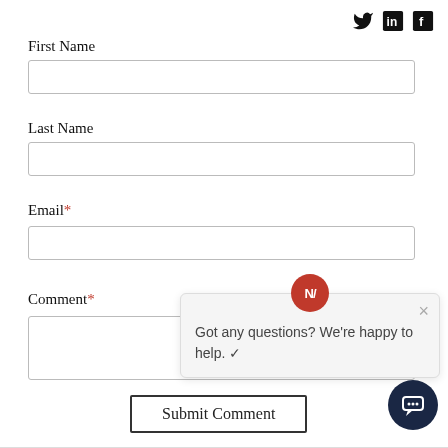[Figure (screenshot): Social media icons: Twitter bird, LinkedIn 'in' square, Facebook 'f' square, top right corner]
First Name
[Figure (other): Empty text input box for First Name]
Last Name
[Figure (other): Empty text input box for Last Name]
Email*
[Figure (other): Empty text input box for Email]
Comment*
[Figure (other): Empty textarea for Comment with resize handle]
[Figure (screenshot): Chat popup with red avatar 'N/' and message: Got any questions? We're happy to help. ✓ with X close button]
[Figure (other): Submit Comment button]
[Figure (other): Dark navy chat bubble icon bottom right]